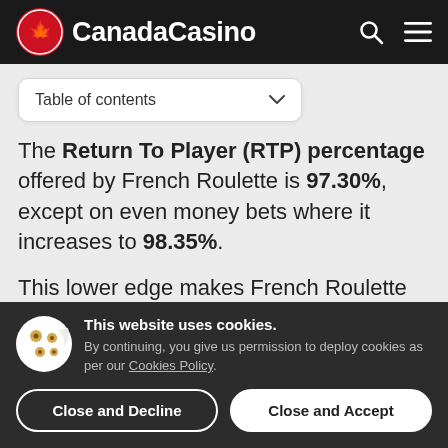CanadaCasino
Table of contents
The Return To Player (RTP) percentage offered by French Roulette is 97.30%, except on even money bets where it increases to 98.35%.
This lower edge makes French Roulette the most profitable game for players. Expressed
This website uses cookies. By continuing, you give us permission to deploy cookies as per our Cookies Policy.
Close and Decline
Close and Accept